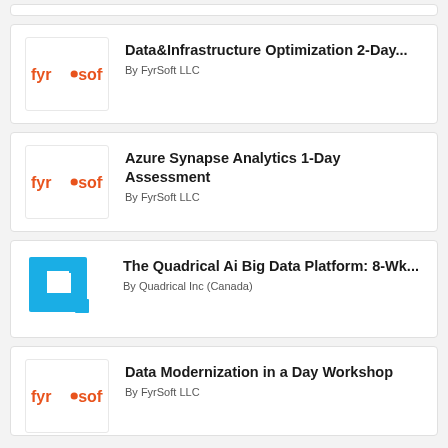Data&Infrastructure Optimization 2-Day... By FyrSoft LLC
Azure Synapse Analytics 1-Day Assessment By FyrSoft LLC
The Quadrical Ai Big Data Platform: 8-Wk... By Quadrical Inc (Canada)
Data Modernization in a Day Workshop By FyrSoft LLC